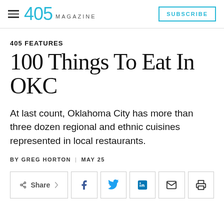405 MAGAZINE  SUBSCRIBE
405 FEATURES
100 Things To Eat In OKC
At last count, Oklahoma City has more than three dozen regional and ethnic cuisines represented in local restaurants.
BY GREG HORTON  |  MAY 25
[Figure (other): Social share buttons: Share, Facebook, Twitter, LinkedIn, Email, Print]